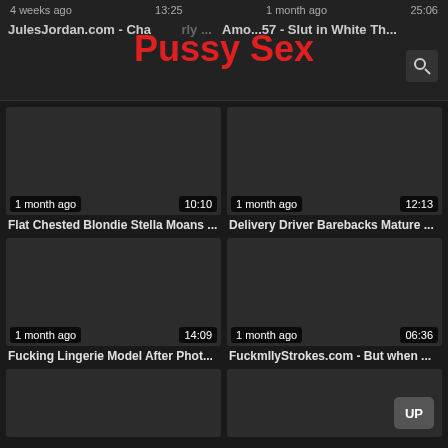4 weeks ago | 13:25 | 1 month ago | 25:06 | JulesJordan.com - Charly ... | Amo...57 - Slut in White Th...
Pussy Sex
[Figure (screenshot): Dark video thumbnail placeholder, 1 month ago, 10:10]
Flat Chested Blondie Stella Moans ...
[Figure (screenshot): Dark video thumbnail placeholder, 1 month ago, 12:13]
Delivery Driver Barebacks Mature ...
[Figure (screenshot): Dark video thumbnail placeholder, 1 month ago, 14:09]
Fucking Lingerie Model After Phot...
[Figure (screenshot): Dark video thumbnail placeholder, 1 month ago, 06:36]
FuckmIlyStrokes.com - But when ...
[Figure (screenshot): Dark video thumbnail placeholder bottom left]
[Figure (screenshot): Dark video thumbnail placeholder bottom right with UP button]